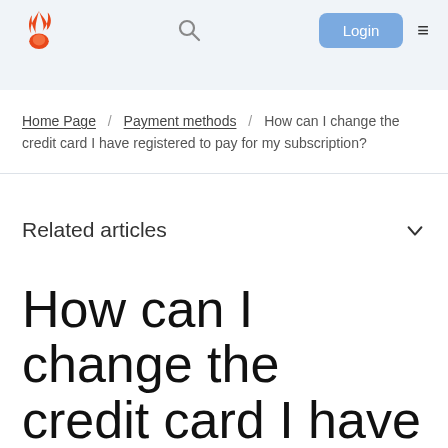Logo / Search / Login / Menu
Home Page / Payment methods / How can I change the credit card I have registered to pay for my subscription?
Related articles
How can I change the credit card I have